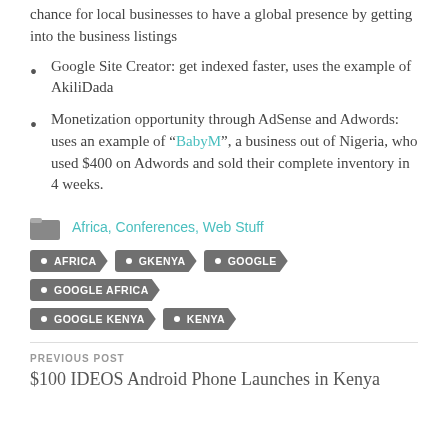chance for local businesses to have a global presence by getting into the business listings
Google Site Creator: get indexed faster, uses the example of AkiliDada
Monetization opportunity through AdSense and Adwords: uses an example of "BabyM", a business out of Nigeria, who used $400 on Adwords and sold their complete inventory in 4 weeks.
Africa, Conferences, Web Stuff
AFRICA
GKENYA
GOOGLE
GOOGLE AFRICA
GOOGLE KENYA
KENYA
PREVIOUS POST
$100 IDEOS Android Phone Launches in Kenya